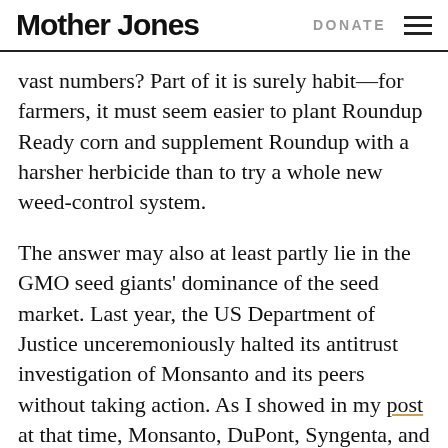Mother Jones | DONATE
vast numbers? Part of it is surely habit—for farmers, it must seem easier to plant Roundup Ready corn and supplement Roundup with a harsher herbicide than to try a whole new weed-control system.
The answer may also at least partly lie in the GMO seed giants' dominance of the seed market. Last year, the US Department of Justice unceremoniously halted its antitrust investigation of Monsanto and its peers without taking action. As I showed in my post at that time, Monsanto, DuPont, Syngenta, and Dow together control 80 percent of the corn seed market and 70 percent of the soy market. In such tightly consolidated